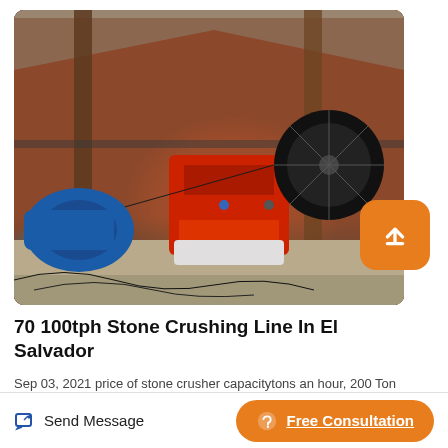[Figure (photo): Industrial stone crushing machine with red jaw crusher body, blue electric motor, large black flywheel, mounted on concrete base under a metal/wood structure shed in El Salvador]
70 100tph Stone Crushing Line In El Salvador
Sep 03, 2021 price of stone crusher capacitytons an hour, 200 Ton Hour Orisman Stone Production Crush Line - 200 Ton Or Hour
Send Message
Free Consultation